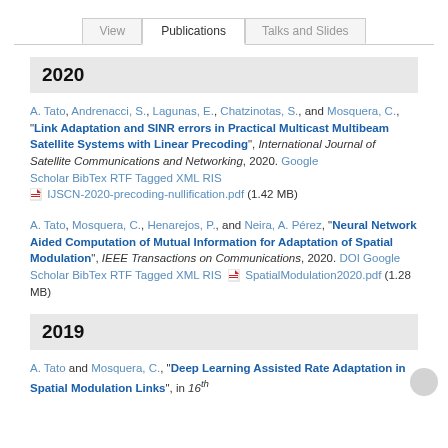View | Publications | Talks and Slides
2020
A. Tato, Andrenacci, S., Lagunas, E., Chatzinotas, S., and Mosquera, C., "Link Adaptation and SINR errors in Practical Multicast Multibeam Satellite Systems with Linear Precoding", International Journal of Satellite Communications and Networking, 2020. Google Scholar BibTex RTF Tagged XML RIS IJSCN-2020-precoding-nullification.pdf (1.42 MB)
A. Tato, Mosquera, C., Henarejos, P., and Neira, A. Pérez, "Neural Network Aided Computation of Mutual Information for Adaptation of Spatial Modulation", IEEE Transactions on Communications, 2020. DOI Google Scholar BibTex RTF Tagged XML RIS SpatialModulation2020.pdf (1.28 MB)
2019
A. Tato and Mosquera, C., "Deep Learning Assisted Rate Adaptation in Spatial Modulation Links", in 16th